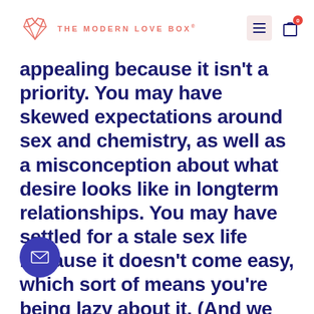THE MODERN LOVE BOX®
appealing because it isn't a priority. You may have skewed expectations around sex and chemistry, as well as a misconception about what desire looks like in longterm relationships. You may have settled for a stale sex life because it doesn't come easy, which sort of means you're being lazy about it. (And we aren't judgy here... it's OK. We have been lazy, too!) In long term relationships, the